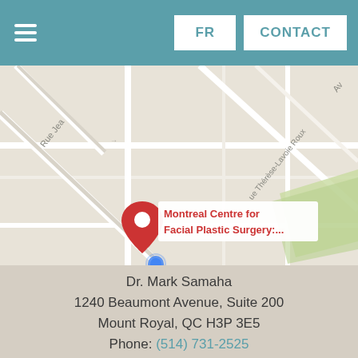FR  CONTACT
[Figure (map): Google Maps screenshot showing location of Montreal Centre for Facial Plastic Surgery on Beaumont Avenue, Mount Royal. A red pin marker is visible with label 'Montreal Centre for Facial Plastic Surgery:...' Street names visible include Rue Jean and Fleet St.]
Dr. Mark Samaha
1240 Beaumont Avenue, Suite 200
Mount Royal, QC H3P 3E5
Phone: (514) 731-2525
Monday–Friday: 8 a.m.–4 p.m.
[Figure (illustration): Social media icons: Facebook, Instagram, YouTube]